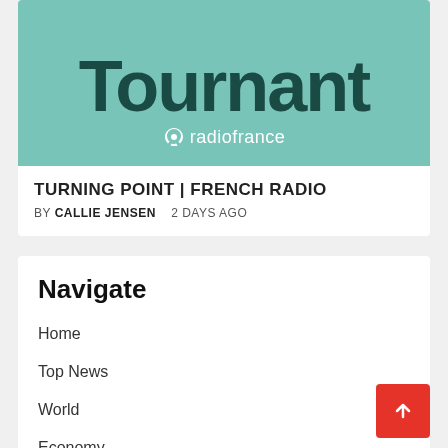[Figure (logo): Tournant French Radio card with teal background showing partial large text 'Tournant' and Radio France logo]
TURNING POINT | FRENCH RADIO
BY CALLIE JENSEN   2 DAYS AGO
Navigate
Home
Top News
World
Economy